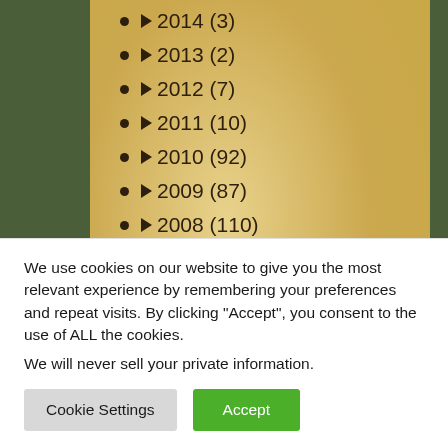► 2014 (3)
► 2013 (2)
► 2012 (7)
► 2011 (10)
► 2010 (92)
► 2009 (87)
► 2008 (110)
► 2007 (13)
We use cookies on our website to give you the most relevant experience by remembering your preferences and repeat visits. By clicking "Accept", you consent to the use of ALL the cookies.
We will never sell your private information.